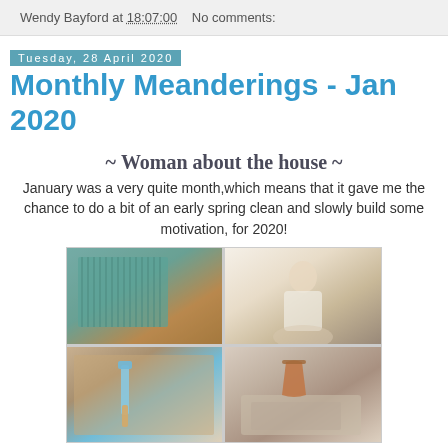Wendy Bayford at 18:07:00   No comments:
Tuesday, 28 April 2020
Monthly Meanderings - Jan 2020
~ Woman about the house ~
January was a very quite month,which means that it gave me the chance to do a bit of an early spring clean and slowly build some motivation, for 2020!
[Figure (photo): A 2x2 photo collage showing: top-left - teal/turquoise placemats on a wooden table, top-right - a person cleaning a bathroom sink, bottom-left - a hand with a spatula in a tray of soil/material, bottom-right - a hand placing soil into a terracotta pot on a cart]